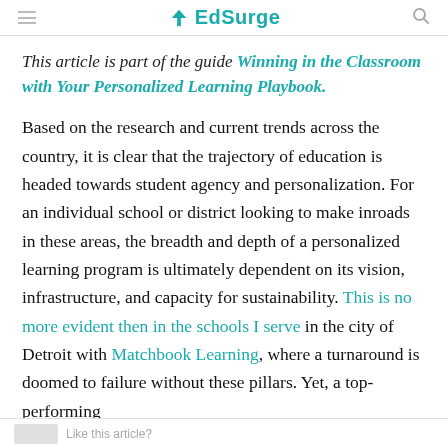EdSurge
This article is part of the guide Winning in the Classroom with Your Personalized Learning Playbook.
Based on the research and current trends across the country, it is clear that the trajectory of education is headed towards student agency and personalization. For an individual school or district looking to make inroads in these areas, the breadth and depth of a personalized learning program is ultimately dependent on its vision, infrastructure, and capacity for sustainability. This is no more evident then in the schools I serve in the city of Detroit with Matchbook Learning, where a turnaround is doomed to failure without these pillars. Yet, a top-performing
Like this article?